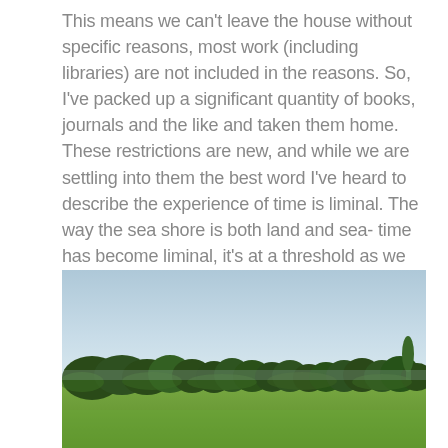This means we can't leave the house without specific reasons, most work (including libraries) are not included in the reasons. So, I've packed up a significant quantity of books, journals and the like and taken them home. These restrictions are new, and while we are settling into them the best word I've heard to describe the experience of time is liminal. The way the sea shore is both land and sea- time has become liminal, it's at a threshold as we wait until we can all begin moving again- and it's a nicer word than purgatory.
[Figure (photo): Outdoor landscape photograph showing a wide green grassy field in the foreground, a line of trees in the middle ground, and a pale blue sky above.]